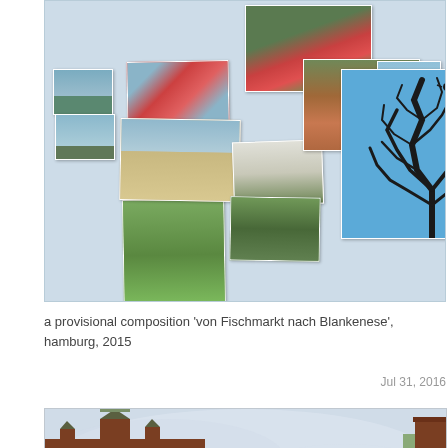[Figure (photo): A collage of multiple photographs arranged on a light blue-grey background, showing Hamburg scenes including water views, boats, flowering plants, park scenes, trees and nature areas. Photos are overlapping at various angles.]
a provisional composition 'von Fischmarkt nach Blankenese', hamburg, 2015
Jul 31, 2016
[Figure (photo): A wide-angle photograph of red brick historical buildings in Hamburg, viewed from street level looking upward, with cloudy sky between the buildings on both sides.]